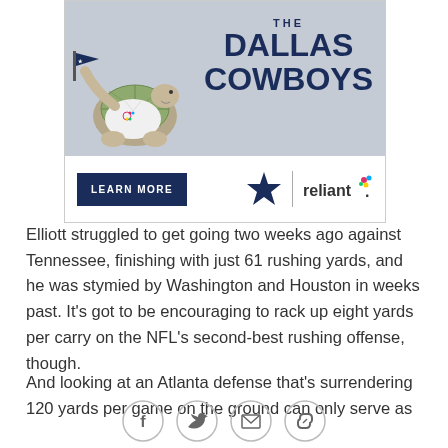[Figure (illustration): Advertisement banner for Dallas Cowboys and Reliant energy partnership. Shows animated turtle mascot holding Dallas Cowboys pennant on left, 'THE DALLAS COWBOYS' text in dark navy on gray background on right. Bottom section has dark navy 'LEARN MORE' button, Dallas Cowboys star logo, vertical divider, and Reliant logo with colorful dot.]
Elliott struggled to get going two weeks ago against Tennessee, finishing with just 61 rushing yards, and he was stymied by Washington and Houston in weeks past. It's got to be encouraging to rack up eight yards per carry on the NFL's second-best rushing offense, though.
And looking at an Atlanta defense that's surrendering 120 yards per game on the ground can only serve as
[Figure (infographic): Social sharing icons: Facebook (f), Twitter (bird), Email (envelope), Link/chain icon. Each inside a light gray circle outline.]